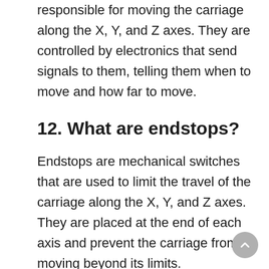responsible for moving the carriage along the X, Y, and Z axes. They are controlled by electronics that send signals to them, telling them when to move and how far to move.
12. What are endstops?
Endstops are mechanical switches that are used to limit the travel of the carriage along the X, Y, and Z axes. They are placed at the end of each axis and prevent the carriage from moving beyond its limits.